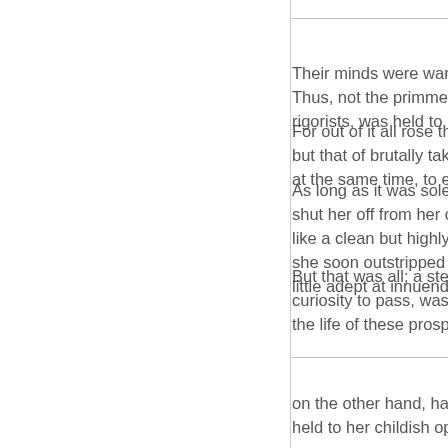Their minds were warped by i Thus, not the primmest patter rigorists, was held to leave his
For out of it all rose the vague but that of brutally taking his p at the same time, to entice, w
As long as it was solely a que shut her off from her compani like a clean but highly sensitis she soon outstripped her com little adept at innuendo.
But that was all; a step farthe curiosity to pass, was the girls the life of these prospective m
on the other hand, had so far held to her childish opinion th